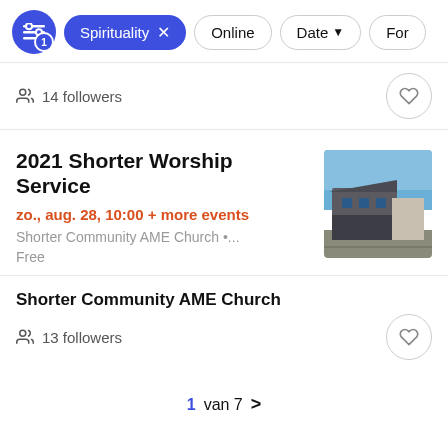Spirituality x  Online  Date  Form
14 followers
2021 Shorter Worship Service
zo., aug. 28, 10:00 + more events
Shorter Community AME Church •...
Free
[Figure (photo): Exterior photo of Shorter Community AME Church building against blue sky]
Shorter Community AME Church
13 followers
1 van 7 >